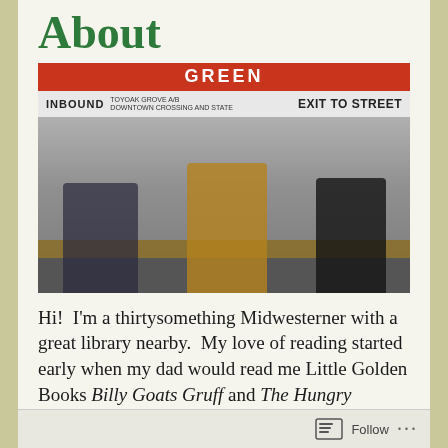About
[Figure (photo): Three people sitting on a bench at a subway/train station platform. The station sign reads GREEN in white on a red background, with a second sign below reading INBOUND and EXIT TO STREET. The person on the left wears sunglasses and dark clothes, the person in the center wears a yellow sweater and reads a newspaper, and the person on the right wears black and looks at a phone.]
Hi!  I'm a thirtysomething Midwesterner with a great library nearby.  My love of reading started early when my dad would read me Little Golden Books Billy Goats Gruff and The Hungry Hippo.  The love affair continued as I always read all the
Follow